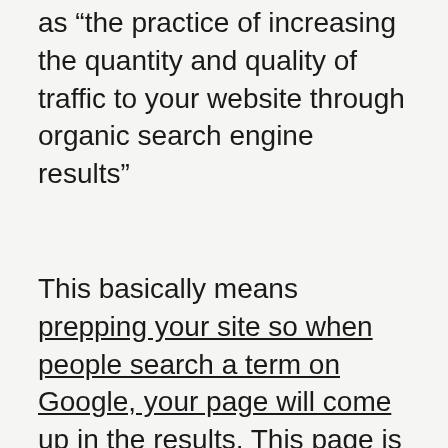as “the practice of increasing the quantity and quality of traffic to your website through organic search engine results”
This basically means prepping your site so when people search a term on Google, your page will come up in the results. This page is called the SERP, or search engine results page.
It is pretty obvious then, why bloggers are concerned with this. While you can get a lot of traffic from Pinterest and social media